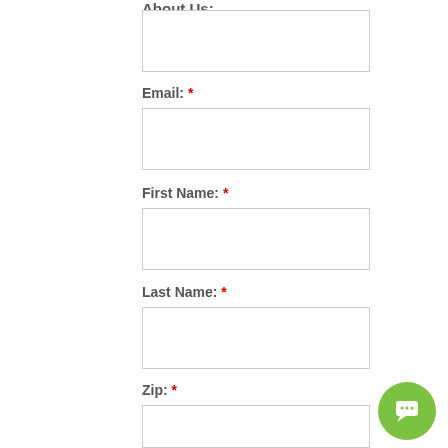About Us:
Email: *
First Name: *
Last Name: *
Zip: *